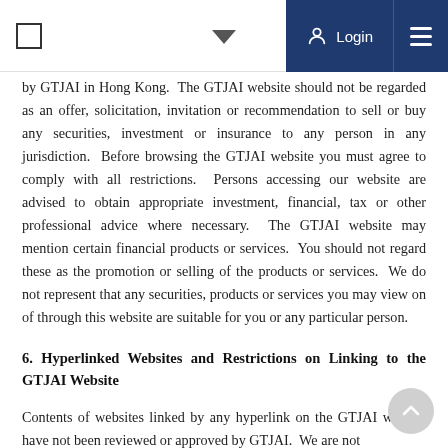Navigation bar with login and menu
by GTJAI in Hong Kong. The GTJAI website should not be regarded as an offer, solicitation, invitation or recommendation to sell or buy any securities, investment or insurance to any person in any jurisdiction. Before browsing the GTJAI website you must agree to comply with all restrictions. Persons accessing our website are advised to obtain appropriate investment, financial, tax or other professional advice where necessary. The GTJAI website may mention certain financial products or services. You should not regard these as the promotion or selling of the products or services. We do not represent that any securities, products or services you may view on of through this website are suitable for you or any particular person.
6. Hyperlinked Websites and Restrictions on Linking to the GTJAI Website
Contents of websites linked by any hyperlink on the GTJAI website have not been reviewed or approved by GTJAI. We are not